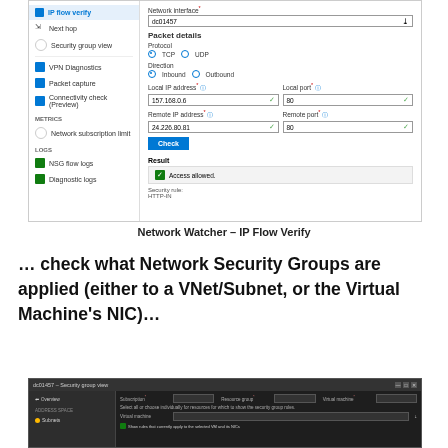[Figure (screenshot): Azure Network Watcher – IP Flow Verify interface showing left navigation sidebar with items: IP flow verify (active), Next hop, Security group view, VPN Diagnostics, Packet capture, Connectivity check (Preview), METRICS section with Network subscription limit, LOGS section with NSG flow logs and Diagnostic logs. Right panel shows form with Network interface field (dc01457), Packet details section with Protocol (TCP/UDP radio, TCP selected), Direction (Inbound/Outbound radio, Inbound selected), Local IP address (157.168.0.6), Local port (80), Remote IP address (24.226.80.81), Remote port (80), Check button, Result section showing Access allowed with green checkmark, Security rule: HTTP-IN.]
Network Watcher – IP Flow Verify
… check what Network Security Groups are applied (either to a VNet/Subnet, or the Virtual Machine's NIC)…
[Figure (screenshot): Azure portal dark-themed screenshot showing Security group view interface with sidebar navigation on left and form panel on right with fields for subscription, resource group, virtual machine, network interface, and a table of security rules. A green checkbox row is visible at the bottom.]